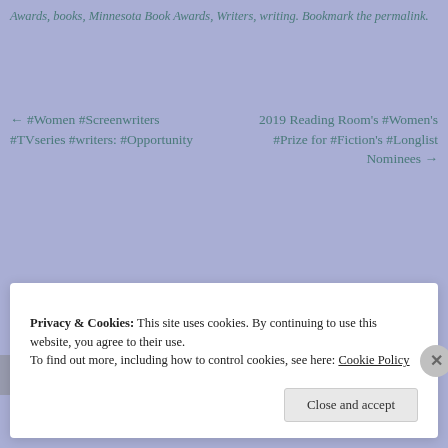Awards, books, Minnesota Book Awards, Writers, writing. Bookmark the permalink.
← #Women #Screenwriters #TVseries #writers: #Opportunity
2019 Reading Room's #Women's #Prize for #Fiction's #Longlist Nominees →
[Figure (logo): Twitter bird icon in black square]
[Figure (logo): Facebook f icon in black square]
Follow Sally Ember, Ed.D. 869
Privacy & Cookies: This site uses cookies. By continuing to use this website, you agree to their use. To find out more, including how to control cookies, see here: Cookie Policy
Close and accept